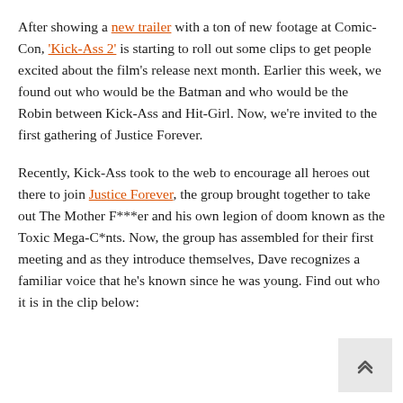After showing a new trailer with a ton of new footage at Comic-Con, 'Kick-Ass 2' is starting to roll out some clips to get people excited about the film's release next month. Earlier this week, we found out who would be the Batman and who would be the Robin between Kick-Ass and Hit-Girl. Now, we're invited to the first gathering of Justice Forever.
Recently, Kick-Ass took to the web to encourage all heroes out there to join Justice Forever, the group brought together to take out The Mother F***er and his own legion of doom known as the Toxic Mega-C*nts. Now, the group has assembled for their first meeting and as they introduce themselves, Dave recognizes a familiar voice that he's known since he was young. Find out who it is in the clip below: